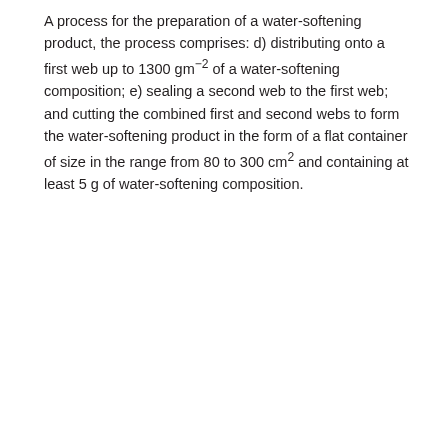A process for the preparation of a water-softening product, the process comprises: d) distributing onto a first web up to 1300 gm⁻² of a water-softening composition; e) sealing a second web to the first web; and cutting the combined first and second webs to form the water-softening product in the form of a flat container of size in the range from 80 to 300 cm² and containing at least 5 g of water-softening composition.